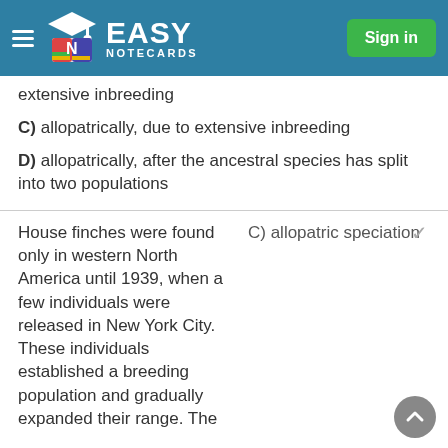Easy Notecards — Sign in
extensive inbreeding
C) allopatrically, due to extensive inbreeding
D) allopatrically, after the ancestral species has split into two populations
House finches were found only in western North America until 1939, when a few individuals were released in New York City. These individuals established a breeding population and gradually expanded their range. The
C) allopatric speciation